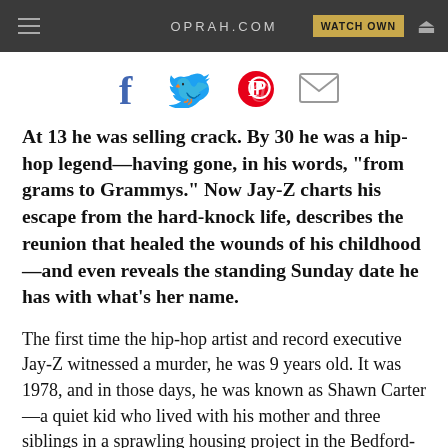OPRAH.COM
[Figure (infographic): Social sharing icons: Facebook (f), Twitter (bird), Pinterest (P circle), Email (envelope)]
At 13 he was selling crack. By 30 he was a hip-hop legend—having gone, in his words, "from grams to Grammys." Now Jay-Z charts his escape from the hard-knock life, describes the reunion that healed the wounds of his childhood—and even reveals the standing Sunday date he has with what's her name.
The first time the hip-hop artist and record executive Jay-Z witnessed a murder, he was 9 years old. It was 1978, and in those days, he was known as Shawn Carter—a quiet kid who lived with his mother and three siblings in a sprawling housing project in the Bedford-Stuyvesant section of Brooklyn...